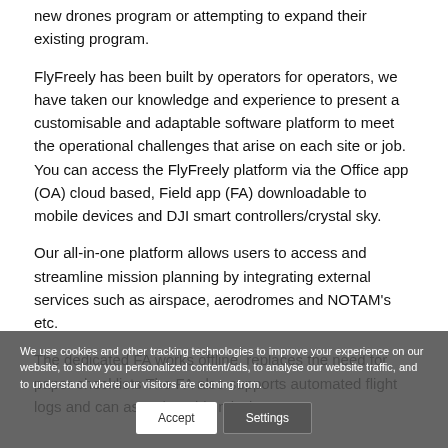new drones program or attempting to expand their existing program.
FlyFreely has been built by operators for operators, we have taken our knowledge and experience to present a customisable and adaptable software platform to meet the operational challenges that arise on each site or job. You can access the FlyFreely platform via the Office app (OA) cloud based, Field app (FA) downloadable to mobile devices and DJI smart controllers/crystal sky.
Our all-in-one platform allows users to access and streamline mission planning by integrating external services such as airspace, aerodromes and NOTAM's etc.
The dedicated FA works offline, replaces the need for paper checklists The FA also supports automated flight logs and can associate this mission
We use cookies and other tracking technologies to improve your experience on our website, to show you personalized content/ads, to analyse our website traffic, and to understand where our visitors are coming from.